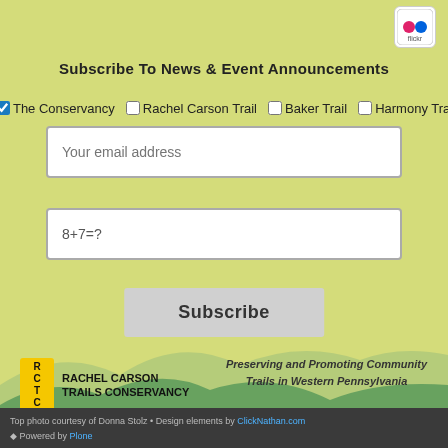[Figure (logo): Flickr icon button in top right corner]
Subscribe To News & Event Announcements
Checkboxes: The Conservancy (checked), Rachel Carson Trail, Baker Trail, Harmony Trail
Your email address (input field)
8+7=? (captcha input field)
[Figure (illustration): Green mountain/hills layered landscape illustration]
Subscribe (button)
[Figure (logo): Rachel Carson Trails Conservancy RCTC logo with yellow box]
Preserving and Promoting Community Trails in Western Pennsylvania
© 2022 Rachel Carson Trails Conservancy, Inc., a nonprofit 501(c)(3) organization, tax ID 22-3225931.
Top photo courtesy of Donna Stolz • Design elements by ClickNathan.com • Powered by Plone